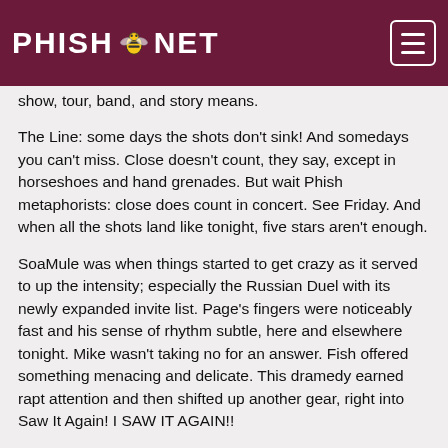PHISH.NET
show, tour, band, and story means.
The Line: some days the shots don't sink! And somedays you can't miss. Close doesn't count, they say, except in horseshoes and hand grenades. But wait Phish metaphorists: close does count in concert. See Friday. And when all the shots land like tonight, five stars aren't enough.
SoaMule was when things started to get crazy as it served to up the intensity; especially the Russian Duel with its newly expanded invite list. Page's fingers were noticeably fast and his sense of rhythm subtle, here and elsewhere tonight. Mike wasn't taking no for an answer. Fish offered something menacing and delicate. This dramedy earned rapt attention and then shifted up another gear, right into Saw It Again! I SAW IT AGAIN!!
To...